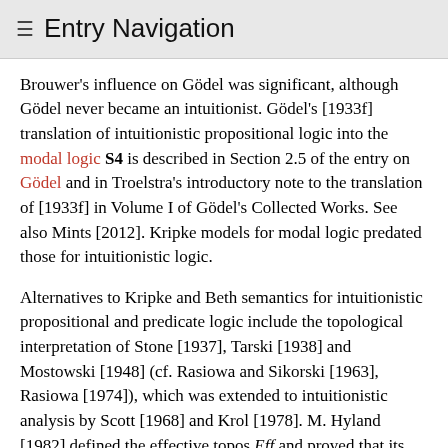≡ Entry Navigation
Brouwer's influence on Gödel was significant, although Gödel never became an intuitionist. Gödel's [1933f] translation of intuitionistic propositional logic into the modal logic S4 is described in Section 2.5 of the entry on Gödel and in Troelstra's introductory note to the translation of [1933f] in Volume I of Gödel's Collected Works. See also Mints [2012]. Kripke models for modal logic predated those for intuitionistic logic.
Alternatives to Kripke and Beth semantics for intuitionistic propositional and predicate logic include the topological interpretation of Stone [1937], Tarski [1938] and Mostowski [1948] (cf. Rasiowa and Sikorski [1963], Rasiowa [1974]), which was extended to intuitionistic analysis by Scott [1968] and Krol [1978]. M. Hyland [1982] defined the effective topos Eff and proved that its logic is intuitionistic. For a very informative discussion of semantics for intuitionistic logic and mathematics by W. Ruitenberg, and an interesting new perspective by G. Bezhanishvali and W. Holliday, see Other Internet